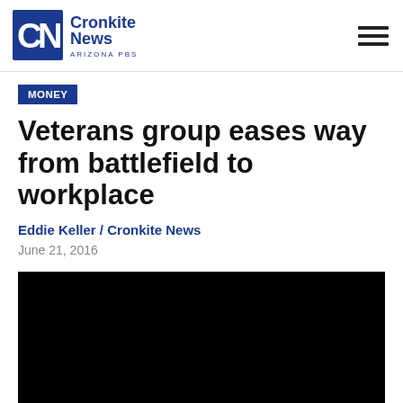Cronkite News Arizona PBS
MONEY
Veterans group eases way from battlefield to workplace
Eddie Keller / Cronkite News
June 21, 2016
[Figure (photo): Black video player embed area]